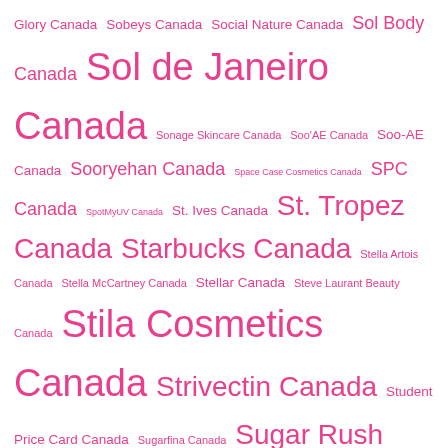Glory Canada Sobeys Canada Social Nature Canada Sol Body Canada Sol de Janeiro Canada Sonage Skincare Canada Soo'AE Canada Soo-AE Canada Sooryehan Canada Space Case Cosmetics Canada SPC Canada SpotMyUV Canada St. Ives Canada St. Tropez Canada Starbucks Canada Stella Artois Canada Stella McCartney Canada Stellar Canada Steve Laurant Beauty Canada Stila Cosmetics Canada Strivectin Canada Student Price Card Canada Sugarfina Canada Sugar Rush Canada Sukin Canada Sulwhasoo Canada Summer's Eve Canada Summer Fridays Canada Sunday Riley Canada Sunstar GUM Canada Sunthera3 Canada Supercharged Naturals Canada Supreme New York Canada Susanne Kaufmann Canada Suzanne Somers Canada Swiss Army Canada Symphony Beauty Canada T3 Canada Taco Bell Canada Tanit Botanics Canada Tarte Cosmetics Canada Tasty Rewards Canada Tata Harper Canada Tatcha Canada Tati Beauty Canada Tazo Canada